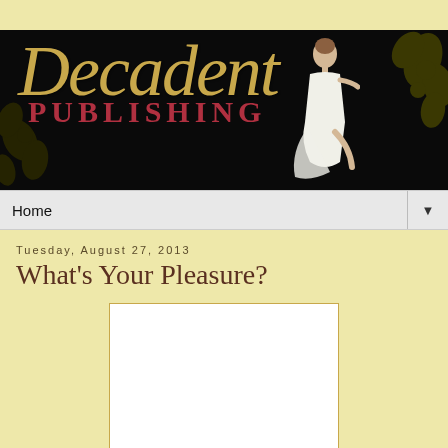[Figure (logo): Decadent Publishing banner logo with script text 'Decadent' in gold italic, 'PUBLISHING' in red bold serif, decorative dark fleur-de-lis on black background, and illustrated lady figure seated on right side]
Home ▼
Tuesday, August 27, 2013
What's Your Pleasure?
[Figure (photo): White empty image box with gold/tan border]